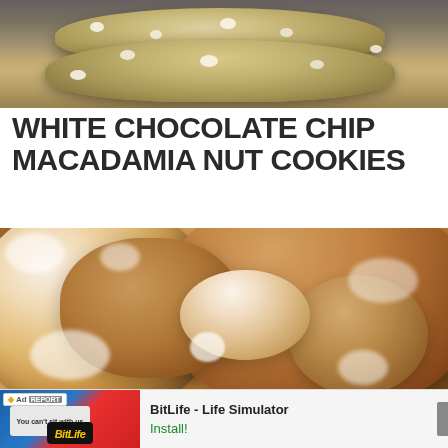[Figure (photo): Close-up photo of stacked white chocolate chip macadamia nut cookies on a dark background]
WHITE CHOCOLATE CHIP MACADAMIA NUT COOKIES
[Figure (photo): Close-up photo of powdered sugar-dusted fried dough balls/beignets, one broken open to show fluffy interior]
[Figure (screenshot): Advertisement banner for BitLife - Life Simulator app with Install button]